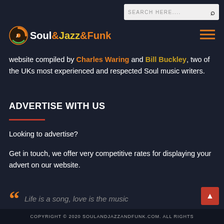[Figure (logo): Soul&Jazz&Funk website logo with musical note icon on dark background, search bar top right, hamburger menu icon top right]
website compiled by Charles Waring and Bill Buckley, two of the UKs most experienced and respected Soul music writers.
ADVERTISE WITH US
Looking to advertise?
Get in touch, we offer very competitive rates for displaying your advert on our website.
“Life is a song, love is the music
COPYRIGHT © 2020 SOULANDJAZZANDFUNK.COM. ALL RIGHTS